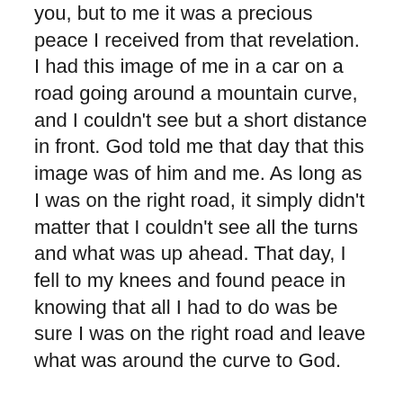you, but to me it was a precious peace I received from that revelation. I had this image of me in a car on a road going around a mountain curve, and I couldn't see but a short distance in front. God told me that day that this image was of him and me. As long as I was on the right road, it simply didn't matter that I couldn't see all the turns and what was up ahead. That day, I fell to my knees and found peace in knowing that all I had to do was be sure I was on the right road and leave what was around the curve to God.
As men, want to see a 10 year layout of the road in front of us so we see all the turns, all the uphills and all the downhills. Thank goodness God doesn't let us see what's ahead.
It's the difference in being at rest and peace with your present location in the journey, rather trying to figure out all the turns to the destination. All you have to know is that God knows. Let me say that again. All you have to know is